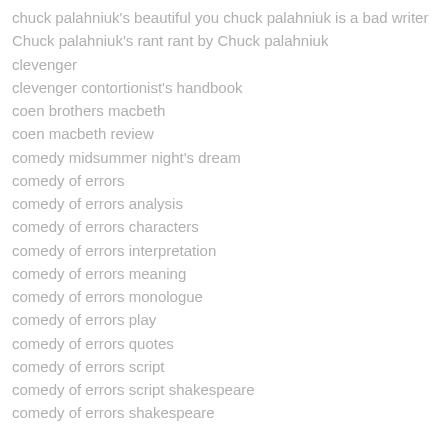chuck palahniuk's beautiful you chuck palahniuk is a bad writer
Chuck palahniuk's rant rant by Chuck palahniuk
clevenger
clevenger contortionist's handbook
coen brothers macbeth
coen macbeth review
comedy midsummer night's dream
comedy of errors
comedy of errors analysis
comedy of errors characters
comedy of errors interpretation
comedy of errors meaning
comedy of errors monologue
comedy of errors play
comedy of errors quotes
comedy of errors script
comedy of errors script shakespeare
comedy of errors shakespeare